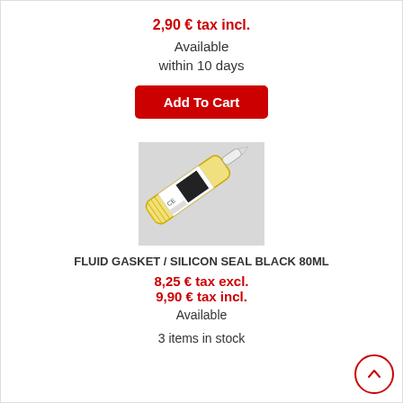2,90 € tax incl.
Available within 10 days
Add To Cart
[Figure (photo): A tube of fluid gasket / silicon seal black 80ml product, shown diagonally with yellow and white label]
FLUID GASKET / SILICON SEAL BLACK 80ML
8,25 € tax excl.
9,90 € tax incl.
Available
3 items in stock